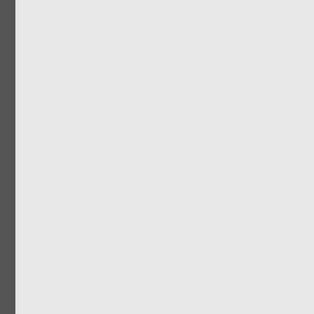763mph
Started by markfa
Pages: [1] 2 3 ... 65 G
GPWizard F1 Forum »
Locked Topic
Normal Topic
Hot Topic (More than
Very Hot Topic (More
Disclaimer